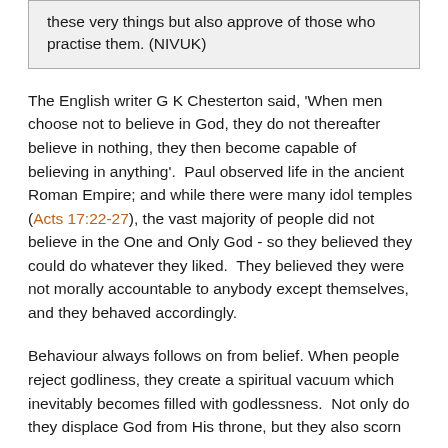these very things but also approve of those who practise them. (NIVUK)
The English writer G K Chesterton said, 'When men choose not to believe in God, they do not thereafter believe in nothing, they then become capable of believing in anything'.  Paul observed life in the ancient Roman Empire; and while there were many idol temples (Acts 17:22-27), the vast majority of people did not believe in the One and Only God - so they believed they could do whatever they liked.  They believed they were not morally accountable to anybody except themselves, and they behaved accordingly.
Behaviour always follows on from belief. When people reject godliness, they create a spiritual vacuum which inevitably becomes filled with godlessness.  Not only do they displace God from His throne, but they also scorn